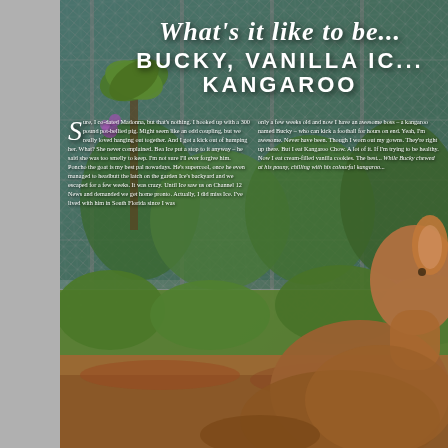[Figure (photo): Magazine spread showing a kangaroo behind a chain-link fence in South Florida, with lush green vegetation in the background. The kangaroo is brown and faces away from the camera toward the right. Title text overlays the top of the image.]
What's it like to be... BUCKY, VANILLA IC... KANGAROO
Sure, I co-dated Madonna, but that's nothing. I hooked up with a 300 pound pot-bellied pig. Might seem like an odd coupling, but we really loved hanging out together. And I got a kick out of humping her. What? She never complained. Bea Ice put a stop to it anyway – he said she was too smelly to keep. I'm not sure I'll ever forgive him. Poncho the goat is my best pal nowadays. He's supercool, once he even managed to headbutt the latch on the garden Ice's backyard and we escaped for a few weeks. It was crazy. Until Ice saw us on Channel 12 News and demanded we get home pronto. Actually, I did miss Ice. I've lived with him in South Florida since I was only a few weeks old and now I have an awesome boss – a kangaroo named Bucky – who can kick a football for hours on end. Yeah, I'm awesome. Never have been. Though I worn out my gowns. They're right up there. But I eat Kangaroo Chow. A lot of it. If I'm trying to be healthy. Now I eat cream-filled vanilla cookies. The best... While Bucky chewed at his pouny, chilling with his colourful kangaroo...